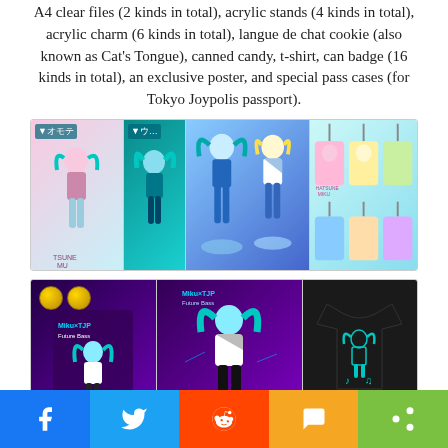A4 clear files (2 kinds in total), acrylic stands (4 kinds in total), acrylic charm (6 kinds in total), langue de chat cookie (also known as Cat's Tongue), canned candy, t-shirt, can badge (16 kinds in total), an exclusive poster, and special pass cases (for Tokyo Joypolis passport).
[Figure (photo): Two rows of merchandise photos: top row shows A4 clear files with Hatsune Miku characters and acrylic charms/stands; bottom row shows can badges, langue de chat cookie packaging, and a black t-shirt with Miku design.]